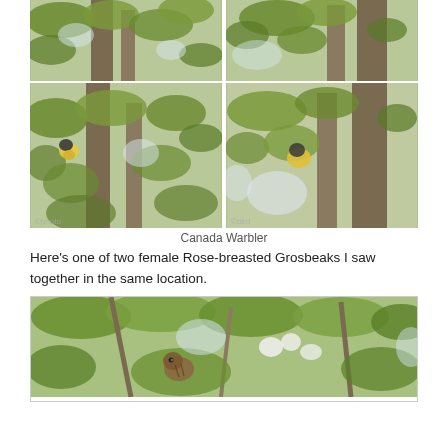[Figure (photo): Two bird photos in top row showing Canada Warbler perched in maple tree branches with green leaves]
[Figure (photo): Two bird photos in second row showing Canada Warbler perched in maple tree branches with green leaves, yellow breast visible]
Canada Warbler
Here’s one of two female Rose-breasted Grosbeaks I saw together in the same location.
[Figure (photo): Female Rose-breasted Grosbeak perched among green leafy branches with white flowers visible]